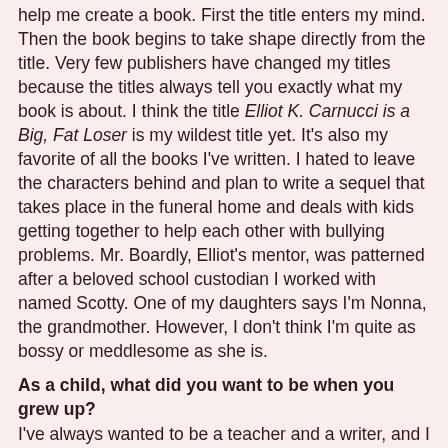help me create a book. First the title enters my mind. Then the book begins to take shape directly from the title. Very few publishers have changed my titles because the titles always tell you exactly what my book is about. I think the title Elliot K. Carnucci is a Big, Fat Loser is my wildest title yet. It's also my favorite of all the books I've written. I hated to leave the characters behind and plan to write a sequel that takes place in the funeral home and deals with kids getting together to help each other with bullying problems. Mr. Boardly, Elliot's mentor, was patterned after a beloved school custodian I worked with named Scotty. One of my daughters says I'm Nonna, the grandmother. However, I don't think I'm quite as bossy or meddlesome as she is.
As a child, what did you want to be when you grew up?
I've always wanted to be a teacher and a writer, and I was fortunate enough to have the honor of being both.
Anything additional you want to share with the readers?
Please write to me on my website, I'd like to know what you think of Elliot and if you can relate to anyone in the story. I'd love to hear your readers' feedback on any of my books.